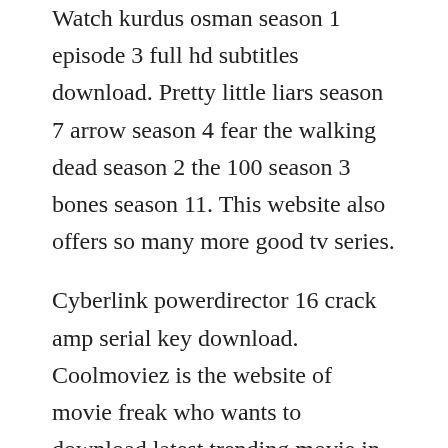Watch kurdus osman season 1 episode 3 full hd subtitles download. Pretty little liars season 7 arrow season 4 fear the walking dead season 2 the 100 season 3 bones season 11. This website also offers so many more good tv series.
Cyberlink powerdirector 16 crack amp serial key download. Coolmoviez is the website of movie freak who wants to download latest trending movie in the movie industry. Watch the walking dead season 7 episode 1 online the day will come when you wont be.
Alternatively the episode can be watched on